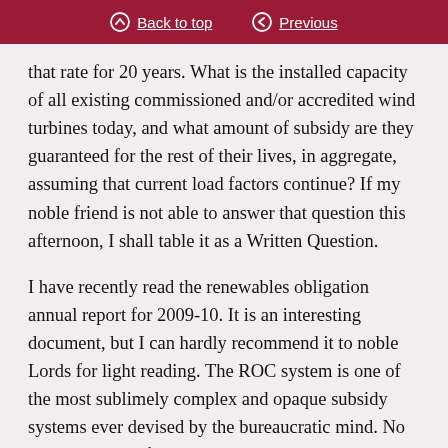Back to top | Previous
that rate for 20 years. What is the installed capacity of all existing commissioned and/or accredited wind turbines today, and what amount of subsidy are they guaranteed for the rest of their lives, in aggregate, assuming that current load factors continue? If my noble friend is not able to answer that question this afternoon, I shall table it as a Written Question.
I have recently read the renewables obligation annual report for 2009-10. It is an interesting document, but I can hardly recommend it to noble Lords for light reading. The ROC system is one of the most sublimely complex and opaque subsidy systems ever devised by the bureaucratic mind. No doubt that very fact gives it a certain political value. From it and from ministerial answers to Written